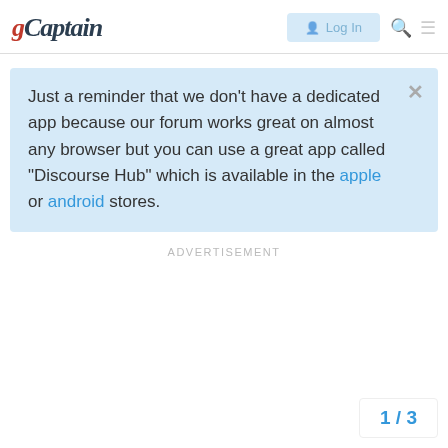gCaptain — Log In
Just a reminder that we don't have a dedicated app because our forum works great on almost any browser but you can use a great app called "Discourse Hub" which is available in the apple or android stores.
ADVERTISEMENT
1 / 3